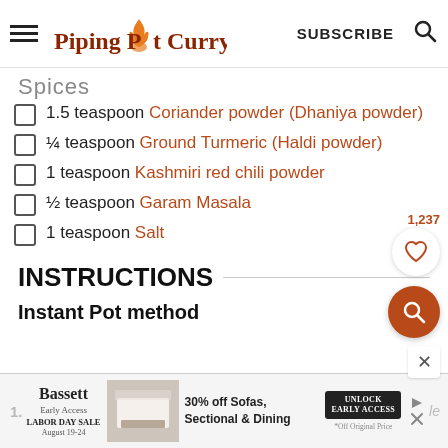Piping Pot Curry | SUBSCRIBE
Spices
1.5 teaspoon Coriander powder (Dhaniya powder)
¼ teaspoon Ground Turmeric (Haldi powder)
1 teaspoon Kashmiri red chili powder
½ teaspoon Garam Masala
1 teaspoon Salt
INSTRUCTIONS
Instant Pot method
[Figure (infographic): Bassett furniture advertisement banner at bottom of page showing 'Early Access Labor Day Sale August 19-24' with 30% off Sofas, Sectional & Dining offer and Unlock Early Access button]